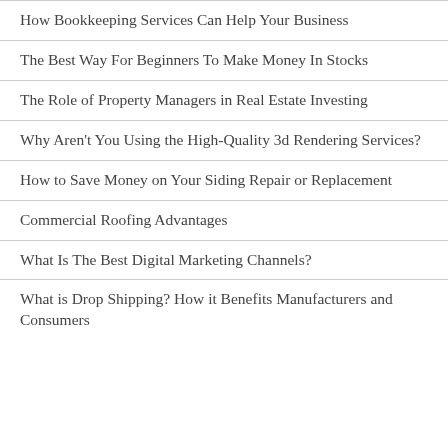How Bookkeeping Services Can Help Your Business
The Best Way For Beginners To Make Money In Stocks
The Role of Property Managers in Real Estate Investing
Why Aren't You Using the High-Quality 3d Rendering Services?
How to Save Money on Your Siding Repair or Replacement
Commercial Roofing Advantages
What Is The Best Digital Marketing Channels?
What is Drop Shipping? How it Benefits Manufacturers and Consumers